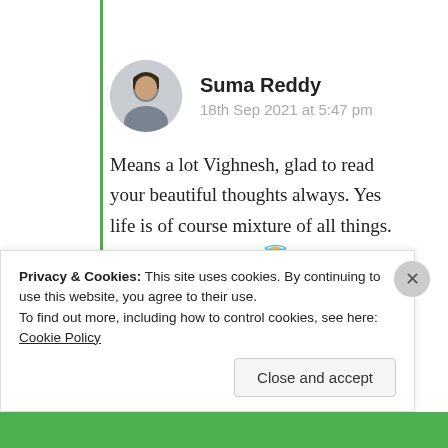Suma Reddy
18th Sep 2021 at 5:47 pm
Means a lot Vighnesh, glad to read your beautiful thoughts always. Yes life is of course mixture of all things. L9ads of thanks for 😇❤
★ Like
Log in to Reply
Privacy & Cookies: This site uses cookies. By continuing to use this website, you agree to their use.
To find out more, including how to control cookies, see here: Cookie Policy
Close and accept